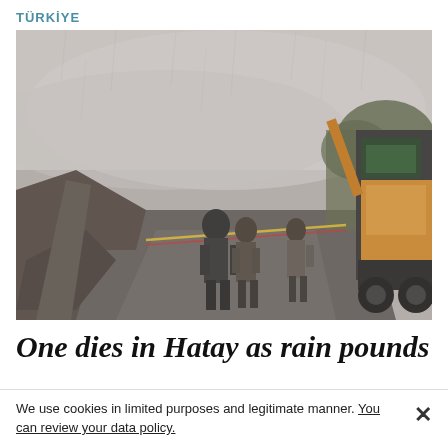TÜRKİYE
[Figure (photo): Foggy, rainy scene of a road with a landslide or collapsed structure. Several people stand on the road looking at the damage. A yellow construction vehicle (backhoe/excavator) is visible on the right side. A collapsed wall or rockfall is visible on the left. The atmosphere is misty and overcast.]
One dies in Hatay as rain pounds
We use cookies in limited purposes and legitimate manner. You can review your data policy.